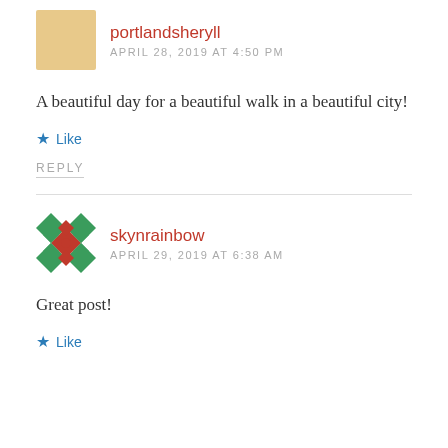portlandsheryll
APRIL 28, 2019 AT 4:50 PM
A beautiful day for a beautiful walk in a beautiful city!
Like
REPLY
skynrainbow
APRIL 29, 2019 AT 6:38 AM
Great post!
Like